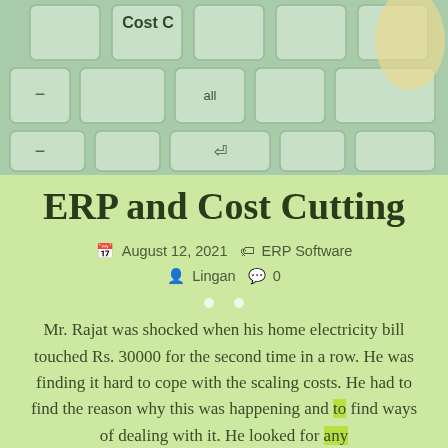[Figure (photo): Close-up photo of a keyboard with a key labeled 'Cost C' visible, teal/green tinted]
ERP and Cost Cutting
August 12, 2021  ERP Software  Lingan  0
Mr. Rajat was shocked when his home electricity bill touched Rs. 30000 for the second time in a row. He was finding it hard to cope with the scaling costs. He had to find the reason why this was happening and to find ways of dealing with it. He looked for any electricity theft, faulty [...]